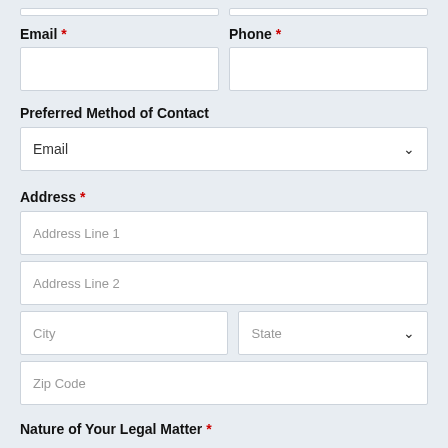Email * [input field]
Phone * [input field]
Preferred Method of Contact
Email [dropdown]
Address *
Address Line 1 [input field]
Address Line 2 [input field]
City [input field]
State [dropdown]
Zip Code [input field]
Nature of Your Legal Matter *